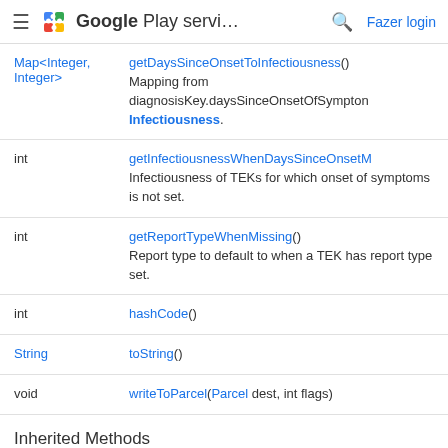Google Play servi... Fazer login
| Type | Method |
| --- | --- |
| Map<Integer, Integer> | getDaysSinceOnsetToInfectiousness() Mapping from diagnosisKey.daysSinceOnsetOfSymptom Infectiousness. |
| int | getInfectiousnessWhenDaysSinceOnsetM Infectiousness of TEKs for which onset of symptoms is not set. |
| int | getReportTypeWhenMissing() Report type to default to when a TEK has report type set. |
| int | hashCode() |
| String | toString() |
| void | writeToParcel(Parcel dest, int flags) |
Inherited Methods